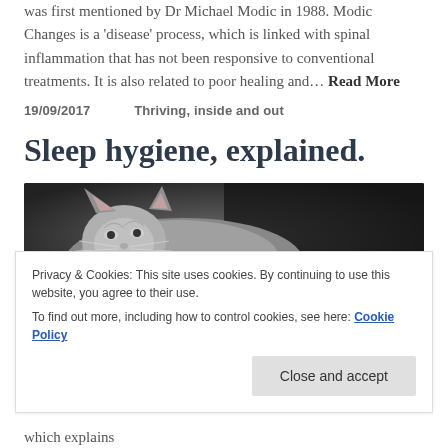was first mentioned by Dr Michael Modic in 1988. Modic Changes is a 'disease' process, which is linked with spinal inflammation that has not been responsive to conventional treatments. It is also related to poor healing and… Read More
19/09/2017    Thriving, inside and out
Sleep hygiene, explained.
[Figure (photo): Black and white close-up photograph of a cat resting, looking upward slightly]
Privacy & Cookies: This site uses cookies. By continuing to use this website, you agree to their use.
To find out more, including how to control cookies, see here: Cookie Policy
which explains